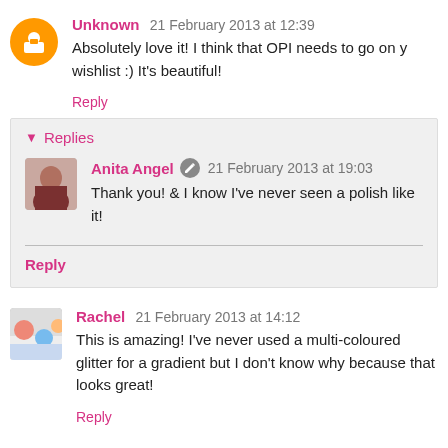Unknown 21 February 2013 at 12:39
Absolutely love it! I think that OPI needs to go on y wishlist :) It's beautiful!
Reply
Replies
Anita Angel 21 February 2013 at 19:03
Thank you! & I know I've never seen a polish like it!
Reply
Rachel 21 February 2013 at 14:12
This is amazing! I've never used a multi-coloured glitter for a gradient but I don't know why because that looks great!
Reply